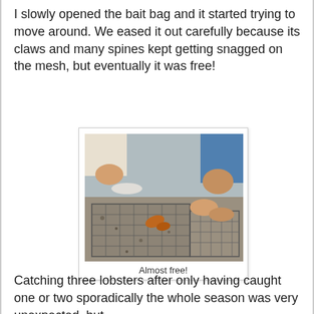I slowly opened the bait bag and it started trying to move around. We eased it out carefully because its claws and many spines kept getting snagged on the mesh, but eventually it was free!
[Figure (photo): People handling a lobster trap/cage on a dock, with orange lobster claws visible being extracted from a wire mesh trap covered in marine growth.]
Almost free!
Catching three lobsters after only having caught one or two sporadically the whole season was very unexpected, but